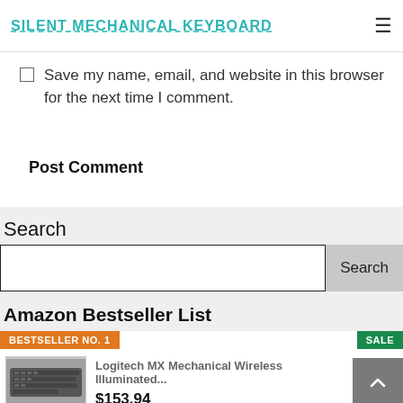SILENT MECHANICAL KEYBOARD
Save my name, email, and website in this browser for the next time I comment.
Post Comment
Search
Amazon Bestseller List
BESTSELLER NO. 1
SALE
Logitech MX Mechanical Wireless Illuminated...
$153.94
[Figure (photo): Logitech MX Mechanical Wireless keyboard product image - dark grey keyboard]
BESTSELLER NO. 2
SALE